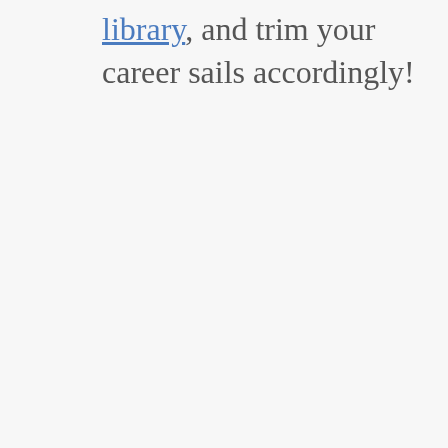library, and trim your career sails accordingly!